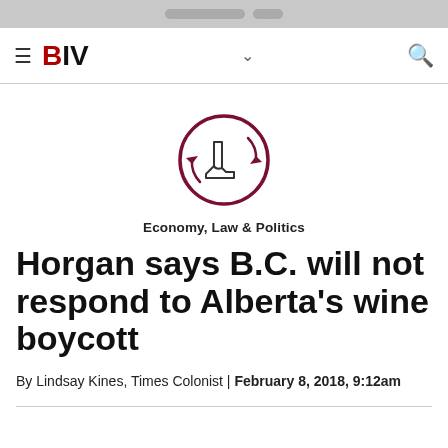BIV
[Figure (logo): BIV (Business in Vancouver) navigation bar with hamburger menu, BIV logo in red/black, dropdown chevron, and search icon]
[Figure (logo): Economy, Law & Politics section icon — a circular logo with a boot/shoe silhouette and circular arrows, in dark red/maroon]
Economy, Law & Politics
Horgan says B.C. will not respond to Alberta’s wine boycott
By Lindsay Kines, Times Colonist | February 8, 2018, 9:12am